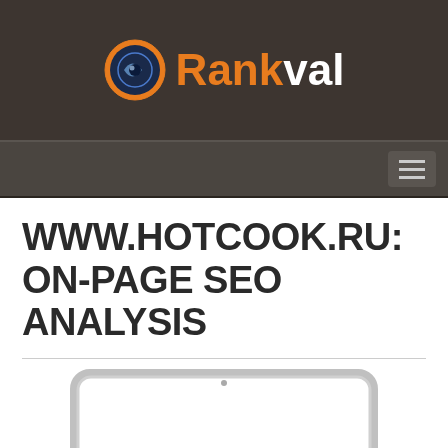[Figure (logo): Rankval logo with orange and white text and a circular icon on dark brown background]
[Figure (screenshot): Navigation bar with hamburger menu button on dark background]
WWW.HOTCOOK.RU: ON-PAGE SEO ANALYSIS
[Figure (illustration): Laptop computer illustration with white screen, shown from the front, partially cropped at bottom. A back-to-top arrow button in bottom right corner.]